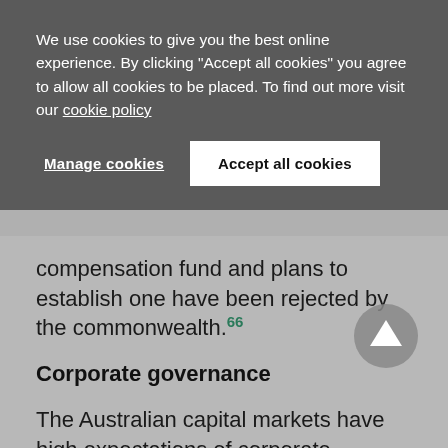We use cookies to give you the best online experience. By clicking "Accept all cookies" you agree to allow all cookies to be placed. To find out more visit our cookie policy
Manage cookies
Accept all cookies
compensation fund and plans to establish one have been rejected by the commonwealth.66
Corporate governance
The Australian capital markets have high expectations of corporate governance, which continues to evolve.
Directors' duties are prescribed by legislation